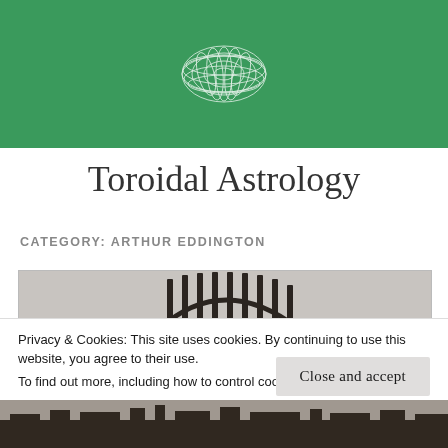[Figure (logo): Green banner header with a white wireframe torus/donut shape logo centered on a green background]
Toroidal Astrology
CATEGORY: ARTHUR EDDINGTON
[Figure (photo): Partial black and white photograph showing the top of an arched structure with vertical bars, visible above the cookie notice]
Privacy & Cookies: This site uses cookies. By continuing to use this website, you agree to their use.
To find out more, including how to control cookies, see here:
Cookie Policy
Close and accept
[Figure (photo): Black and white photograph strip at the bottom of the page showing a historical outdoor scene]